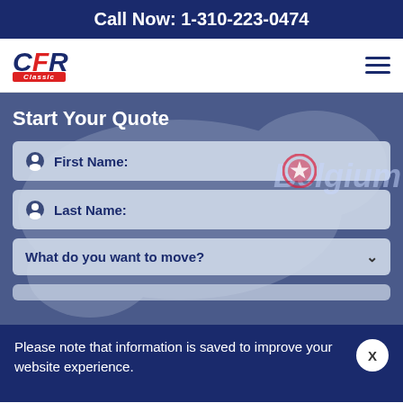Call Now: 1-310-223-0474
[Figure (logo): CFR Classic company logo with red, white and blue colors]
Start Your Quote
First Name:
Last Name:
What do you want to move?
Please note that information is saved to improve your website experience.